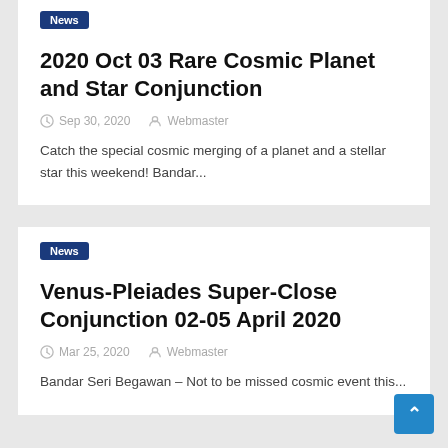News
2020 Oct 03 Rare Cosmic Planet and Star Conjunction
Sep 30, 2020   Webmaster
Catch the special cosmic merging of a planet and a stellar star this weekend! Bandar...
News
Venus-Pleiades Super-Close Conjunction 02-05 April 2020
Mar 25, 2020   Webmaster
Bandar Seri Begawan – Not to be missed cosmic event this...